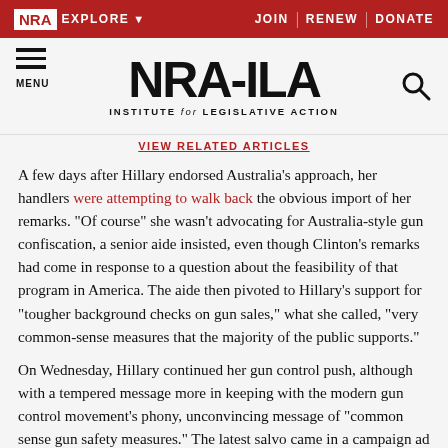NRA EXPLORE ▼  JOIN | RENEW | DONATE
[Figure (logo): NRA-ILA logo with hamburger menu on left, search icon on right, subtitle INSTITUTE for LEGISLATIVE ACTION]
VIEW RELATED ARTICLES
A few days after Hillary endorsed Australia's approach, her handlers were attempting to walk back the obvious import of her remarks. "Of course" she wasn't advocating for Australia-style gun confiscation, a senior aide insisted, even though Clinton's remarks had come in response to a question about the feasibility of that program in America. The aide then pivoted to Hillary's support for "tougher background checks on gun sales," what she called, "very common-sense measures that the majority of the public supports."
On Wednesday, Hillary continued her gun control push, although with a tempered message more in keeping with the modern gun control movement's phony, unconvincing message of "common sense gun safety measures." The latest salvo came in a campaign ad